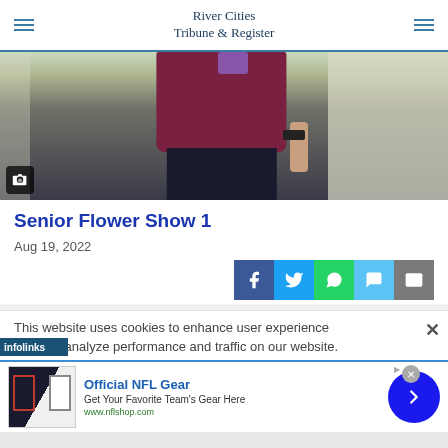River Cities Tribune & Register
[Figure (photo): Photo of a person wearing a maroon/burgundy shirt with a purple bow/tie and dark pants, standing in front of a light background. A camera icon overlay is visible in the bottom-left corner.]
Senior Flower Show 1
Aug 19, 2022
[Figure (infographic): Social share buttons: Facebook (blue), Twitter (light blue), WhatsApp (green), SMS/message (light blue), Email (gray)]
This website uses cookies to enhance user experience to analyze performance and traffic on our website.
[Figure (infographic): Advertisement banner: Official NFL Gear - Get Your Favorite Team's Gear Here - www.nflshop.com, with NFL jerseys image and blue arrow circle button.]